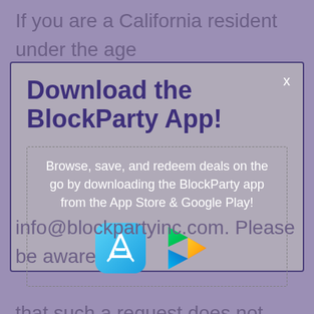If you are a California resident under the age of 18, and a registered user of our site, please
[Figure (screenshot): Modal popup dialog for downloading the BlockParty App, with title 'Download the BlockParty App!', descriptive text, App Store and Google Play icons, and a close button X in the top right corner.]
info@blockpartyinc.com. Please be aware that such a request does not ensure complete or comprehensive removal of the